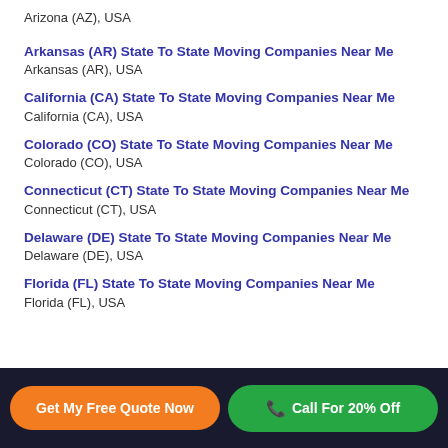Arizona (AZ), USA
Arkansas (AR) State To State Moving Companies Near Me
Arkansas (AR), USA
California (CA) State To State Moving Companies Near Me
California (CA), USA
Colorado (CO) State To State Moving Companies Near Me
Colorado (CO), USA
Connecticut (CT) State To State Moving Companies Near Me
Connecticut (CT), USA
Delaware (DE) State To State Moving Companies Near Me
Delaware (DE), USA
Florida (FL) State To State Moving Companies Near Me
Florida (FL), USA
Get My Free Quote Now | Call For 20% Off